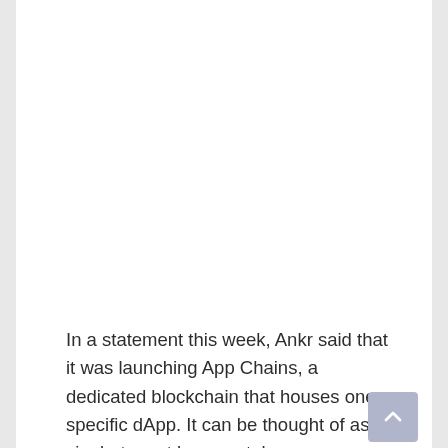In a statement this week, Ankr said that it was launching App Chains, a dedicated blockchain that houses one specific dApp. It can be thought of as a single-tenant bare-metal server